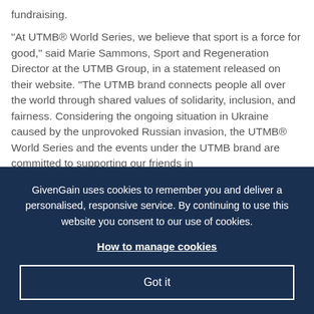fundraising.

“At UTMB® World Series, we believe that sport is a force for good,” said Marie Sammons, Sport and Regeneration Director at the UTMB Group, in a statement released on their website. “The UTMB brand connects people all over the world through shared values of solidarity, inclusion, and fairness. Considering the ongoing situation in Ukraine caused by the unprovoked Russian invasion, the UTMB® World Series and the events under the UTMB brand are committed to supporting our friends in
GivenGain uses cookies to remember you and deliver a personalised, responsive service. By continuing to use this website you consent to our use of cookies.
How to manage cookies
Got it